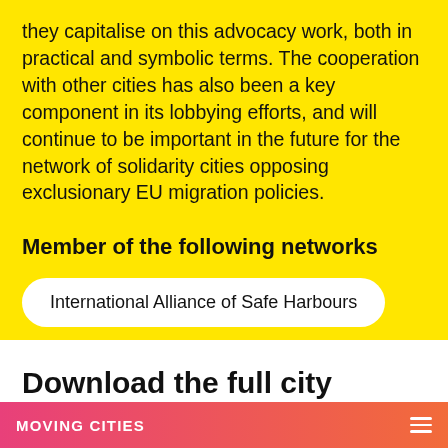they capitalise on this advocacy work, both in practical and symbolic terms. The cooperation with other cities has also been a key component in its lobbying efforts, and will continue to be important in the future for the network of solidarity cities opposing exclusionary EU migration policies.
Member of the following networks
International Alliance of Safe Harbours
Download the full city
MOVING CITIES